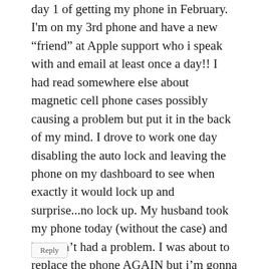day 1 of getting my phone in February. I'm on my 3rd phone and have a new "friend" at Apple support who i speak with and email at least once a day!! I had read somewhere else about magnetic cell phone cases possibly causing a problem but put it in the back of my mind. I drove to work one day disabling the auto lock and leaving the phone on my dashboard to see when exactly it would lock up and surprise...no lock up. My husband took my phone today (without the case) and he hasn't had a problem. I was about to replace the phone AGAIN but i'm gonna try it this weekend without the case and see what happens. Thanks for all your input